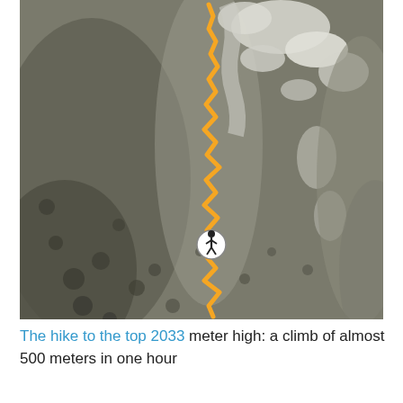[Figure (map): Aerial satellite view of a rocky mountain terrain with an orange zigzag trail line running from bottom to top of the image. A white circular icon with a hiker figure is shown near the bottom of the trail, indicating current position on the route.]
The hike to the top 2033 meter high: a climb of almost 500 meters in one hour